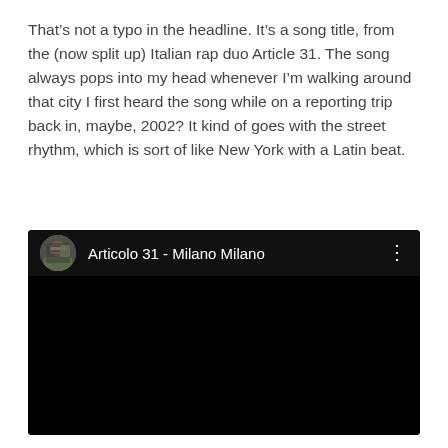That's not a typo in the headline. It's a song title, from the (now split up) Italian rap duo Article 31. The song always pops into my head whenever I'm walking around that city I first heard the song while on a reporting trip back in, maybe, 2002? It kind of goes with the street rhythm, which is sort of like New York with a Latin beat.
[Figure (screenshot): YouTube video embed showing 'Articolo 31 - Milano Milano' with a circular thumbnail of someone in a car on the left, video title in white text on dark background, three-dot menu icon on the right, and a black video player area below.]